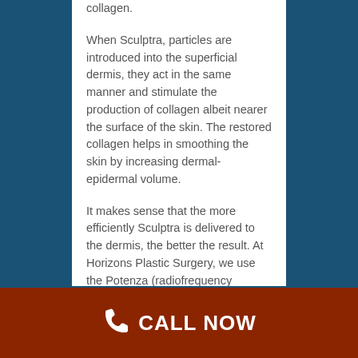collagen.

When Sculptra, particles are introduced into the superficial dermis, they act in the same manner and stimulate the production of collagen albeit nearer the surface of the skin. The restored collagen helps in smoothing the skin by increasing dermal-epidermal volume.

It makes sense that the more efficiently Sculptra is delivered to the dermis, the better the result. At Horizons Plastic Surgery, we use the Potenza (radiofrequency augmented microneedling) to deliver the drug to its intended target. Instead of merely rubbing the serum onto the face after microneedling, our system uses specialized needles that carry the Sculptra deeper and more uniformly into the superficial dermis.
CALL NOW